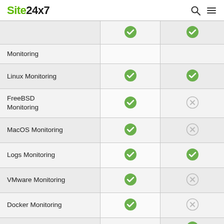Site24x7
| Feature | Site24x7 | Competitor |
| --- | --- | --- |
| Monitoring | ✓ | ✓ |
| Linux Monitoring | ✓ | ✓ |
| FreeBSD Monitoring | ✓ | ✗ |
| MacOS Monitoring | ✓ | ✗ |
| Logs Monitoring | ✓ | ✓ |
| VMware Monitoring | ✓ | ✗ |
| Docker Monitoring | ✓ | ✗ |
| Kubernetes Monitoring | ✓ | Yes, but Azure |